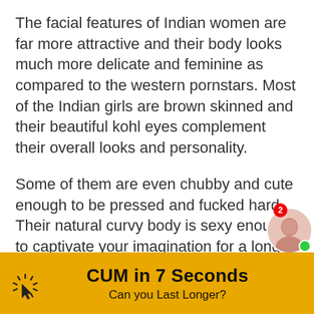The facial features of Indian women are far more attractive and their body looks much more delicate and feminine as compared to the western pornstars. Most of the Indian girls are brown skinned and their beautiful kohl eyes complement their overall looks and personality.
Some of them are even chubby and cute enough to be pressed and fucked hard. Their natural curvy body is sexy enough to captivate your imagination for a long time.
Slender waist, shapely ass, and fully gro...
[Figure (infographic): Yellow advertisement banner at bottom: spinning cursor/loading icon on left, bold text 'CUM in 7 Seconds' with subtitle 'Can you Last Longer?', notification badge with number 2 and circular avatar photo with green online dot.]